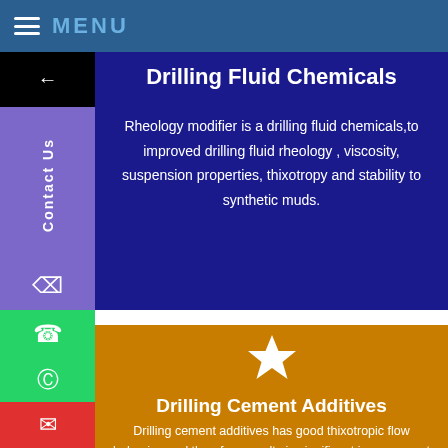MENU
Drilling Fluid Chemicals
Rheology modifier is a drilling fluid chemicals,to improved drilling fluid rheology , viscosity, suspension properties, thixotropy and stability to synthetic muds.
[Figure (illustration): White star icon on orange background]
Drilling Cement Additives
Drilling cement additives has good thixotropic flow behavior, and therefore results in significant improvement to the drilling fluid rheology properties while at the same